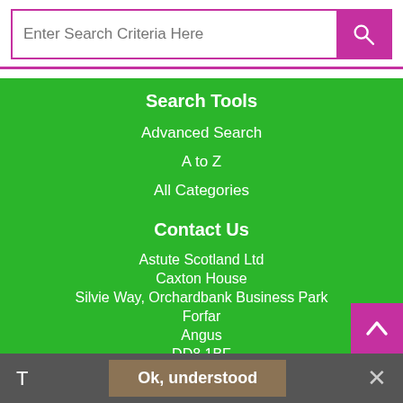[Figure (screenshot): Search input bar with purple search button containing a magnifying glass icon]
Search Tools
Advanced Search
A to Z
All Categories
Contact Us
Astute Scotland Ltd
Caxton House
Silvie Way, Orchardbank Business Park
Forfar
Angus
DD8 1BF
sales@theastutegroup.net
Forfar: 01307 464467 | Aberdeen: 01224 212255
T   Ok, understood   ✕